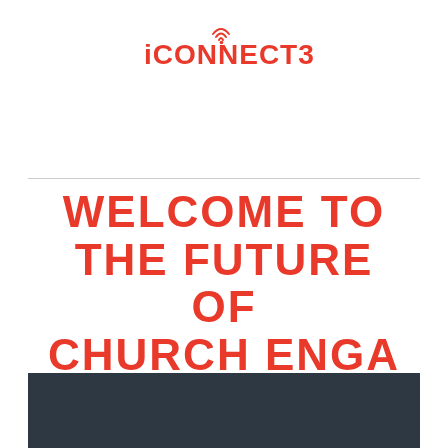[Figure (logo): iCONNECT365 logo with wifi icon above the text, in salmon/red color]
WELCOME TO THE FUTURE OF CHURCH ENGAGEMENT!
[Figure (photo): Dark navy/dark teal rectangular block at bottom of page]